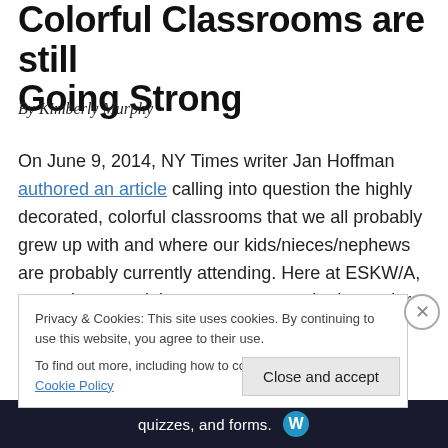Colorful Classrooms are still Going Strong
By Kimberly Murphy
On June 9, 2014, NY Times writer Jan Hoffman authored an article calling into question the highly decorated, colorful classrooms that we all probably grew up with and where our kids/nieces/nephews are probably currently attending. Here at ESKW/A, we embrace, celebrate, promote, and adore colors so we were especially curious to read Ms. Hoffman's article. A study performed by
Privacy & Cookies: This site uses cookies. By continuing to use this website, you agree to their use.
To find out more, including how to control cookies, see here: Cookie Policy
Close and accept
quizzes, and forms.